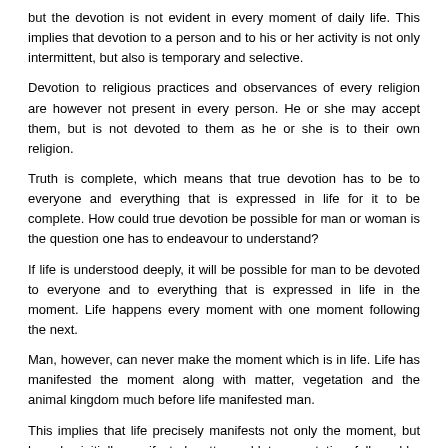but the devotion is not evident in every moment of daily life. This implies that devotion to a person and to his or her activity is not only intermittent, but also is temporary and selective.
Devotion to religious practices and observances of every religion are however not present in every person. He or she may accept them, but is not devoted to them as he or she is to their own religion.
Truth is complete, which means that true devotion has to be to everyone and everything that is expressed in life for it to be complete. How could true devotion be possible for man or woman is the question one has to endeavour to understand?
If life is understood deeply, it will be possible for man to be devoted to everyone and to everything that is expressed in life in the moment. Life happens every moment with one moment following the next.
Man, however, can never make the moment which is in life. Life has manifested the moment along with matter, vegetation and the animal kingdom much before life manifested man.
This implies that life precisely manifests not only the moment, but has also initially manifested matter and later vegetation, followed by the animal kingdom and eventually man.